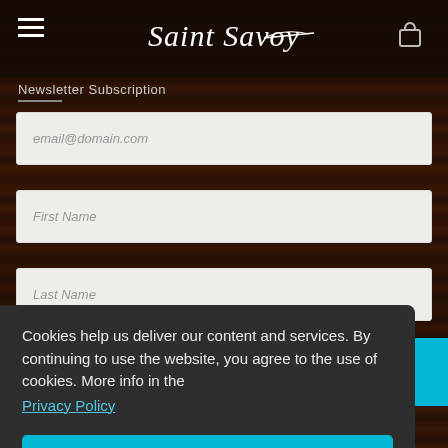[Figure (screenshot): Saint Savoy website header with hamburger menu icon, script logo, and shopping bag icon on dark background]
Newsletter Subscription
email@domain.com
First Name
Last Name
Cookies help us deliver our content and services. By continuing to use the website, you agree to the use of cookies. More info in the Privacy Policy
I agree!